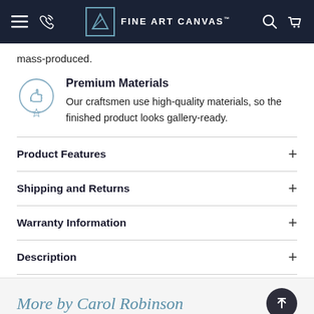FINE ART CANVAS
mass-produced.
Premium Materials
Our craftsmen use high-quality materials, so the finished product looks gallery-ready.
Product Features
Shipping and Returns
Warranty Information
Description
More by Carol Robinson